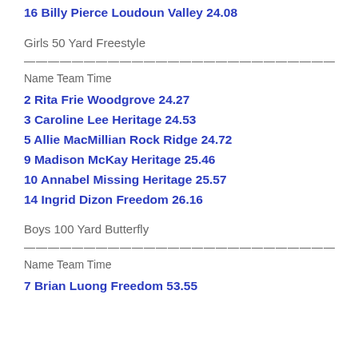16 Billy Pierce Loudoun Valley 24.08
Girls 50 Yard Freestyle
——————————————————————————
Name Team Time
2 Rita Frie Woodgrove 24.27
3 Caroline Lee Heritage 24.53
5 Allie MacMillian Rock Ridge 24.72
9 Madison McKay Heritage 25.46
10 Annabel Missing Heritage 25.57
14 Ingrid Dizon Freedom 26.16
Boys 100 Yard Butterfly
——————————————————————————
Name Team Time
7 Brian Luong Freedom 53.55